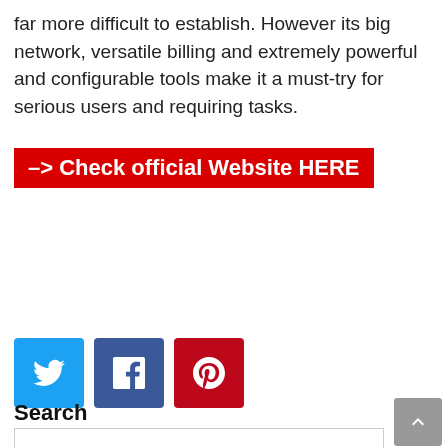far more difficult to establish. However its big network, versatile billing and extremely powerful and configurable tools make it a must-try for serious users and requiring tasks.
–> Check official Website HERE
[Figure (infographic): Social share buttons: Twitter (blue), Facebook (dark blue), Pinterest (red)]
Search